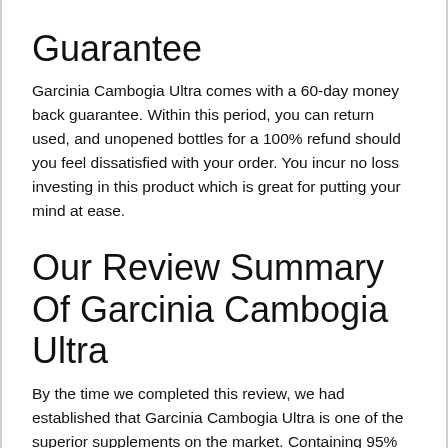Guarantee
Garcinia Cambogia Ultra comes with a 60-day money back guarantee. Within this period, you can return used, and unopened bottles for a 100% refund should you feel dissatisfied with your order. You incur no loss investing in this product which is great for putting your mind at ease.
Our Review Summary Of Garcinia Cambogia Ultra
By the time we completed this review, we had established that Garcinia Cambogia Ultra is one of the superior supplements on the market. Containing 95% HCA, this Garcinia Cambogia product is known for its ability to suppress appetite and improve well-being through the production of serotonin. This, in turn, helps to prevent comfort eating. It also helps maintain